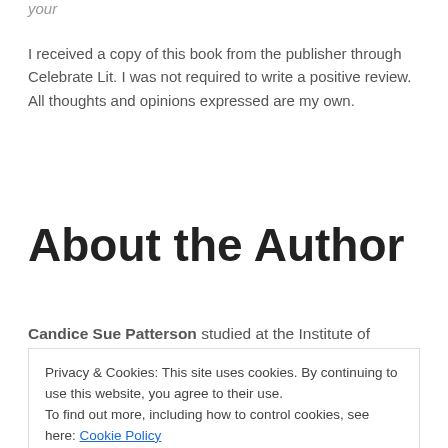your
I received a copy of this book from the publisher through Celebrate Lit. I was not required to write a positive review. All thoughts and opinions expressed are my own.
About the Author
Candice Sue Patterson studied at the Institute of
Privacy & Cookies: This site uses cookies. By continuing to use this website, you agree to their use.
To find out more, including how to control cookies, see here: Cookie Policy
or decorating cakes, she's working on a new story